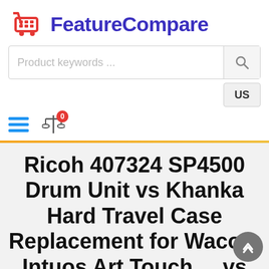FeatureCompare
Ricoh 407324 SP4500 Drum Unit vs Khanka Hard Travel Case Replacement for Wacom Intuos Art Touch ... vs ASUS ROG Zephyrus